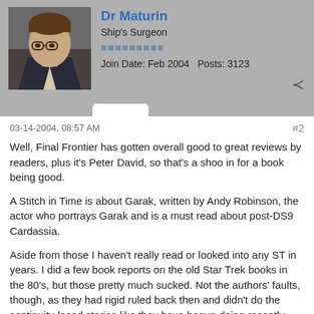Dr Maturin | Ship's Surgeon | Join Date: Feb 2004 Posts: 3123
03-14-2004, 08:57 AM
#2

Well, Final Frontier has gotten overall good to great reviews by readers, plus it's Peter David, so that's a shoo in for a book being good.

A Stitch in Time is about Garak, written by Andy Robinson, the actor who portrays Garak and is a must read about post-DS9 Cardassia.

Aside from those I haven't really read or looked into any ST in years. I did a few book reports on the old Star Trek books in the 80's, but those pretty much sucked. Not the authors' faults, though, as they had rigid ruled back then and didn't do the continuity-laced stories like they have begun doing recently.

I say go with Final Frontier.

Recently, there was a reckoning. It occurred on November 4, 2014 across the United States. Voters, recognizing the failures of the current leadership and fearing their unchecked abuses of power, elected another party as the new majority. This is a first step toward preventing more damage and undoing some of the damage already done. Hopefully, this is as much as will be required.